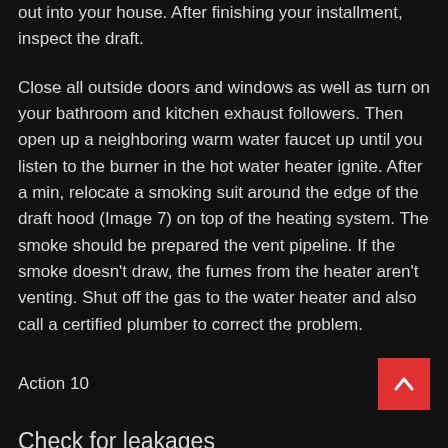out into your house. After finishing your installment, inspect the draft.
Close all outside doors and windows as well as turn on your bathroom and kitchen exhaust followers. Then open up a neighboring warm water faucet up until you listen to the burner in the hot water heater ignite. After a min, relocate a smoking suit around the edge of the draft hood (Image 7) on top of the heating system. The smoke should be prepared the vent pipeline. If the smoke doesn't draw, the fumes from the heater aren't venting. Shut off the gas to the water heater and also call a certified plumber to correct the problem.
Action 10
Check for leakages